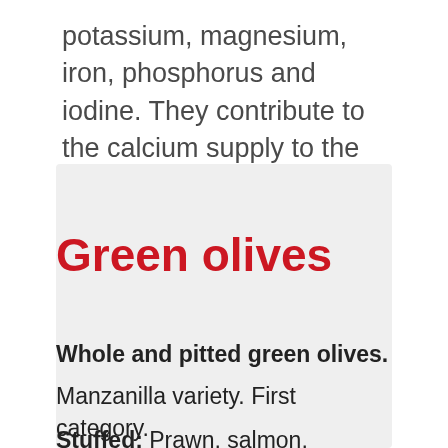potassium, magnesium, iron, phosphorus and iodine. They contribute to the calcium supply to the body and prevent atherosclerosis.
Green olives
Whole and pitted green olives. Manzanilla variety. First category. Caliber 280/300. Format 300ml.
Stuffed: Prawn, salmon, anchovy